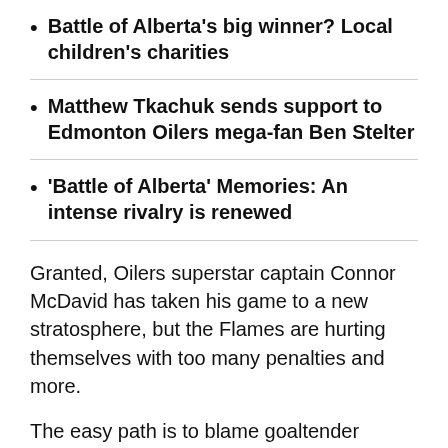Battle of Alberta's big winner? Local children's charities
Matthew Tkachuk sends support to Edmonton Oilers mega-fan Ben Stelter
'Battle of Alberta' Memories: An intense rivalry is renewed
Granted, Oilers superstar captain Connor McDavid has taken his game to a new stratosphere, but the Flames are hurting themselves with too many penalties and more.
The easy path is to blame goaltender Jacob Markstrom, who has posted a 4.24 goals-against average and .868 save percentage against the Oilers between regular-season and